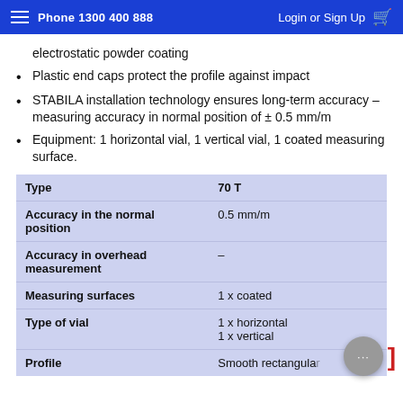Phone 1300 400 888   Login or Sign Up
electrostatic powder coating
Plastic end caps protect the profile against impact
STABILA installation technology ensures long-term accuracy – measuring accuracy in normal position of ± 0.5 mm/m
Equipment: 1 horizontal vial, 1 vertical vial, 1 coated measuring surface.
|  |  |
| --- | --- |
| Type | 70 T |
| Accuracy in the normal position | 0.5 mm/m |
| Accuracy in overhead measurement | – |
| Measuring surfaces | 1 x coated |
| Type of vial | 1 x horizontal
1 x vertical |
| Profile | Smooth rectangular |